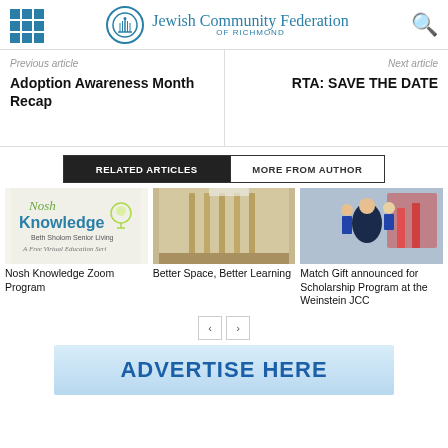Jewish Community Federation of Richmond
Previous article
Adoption Awareness Month Recap
Next article
RTA: SAVE THE DATE
RELATED ARTICLES | MORE FROM AUTHOR
[Figure (photo): Nosh Knowledge Beth Sholom Senior Living - A Free Virtual Education Series logo]
Nosh Knowledge Zoom Program
[Figure (photo): Interior of an office space with wooden partition walls]
Better Space, Better Learning
[Figure (photo): Woman with two children on a colorful playground]
Match Gift announced for Scholarship Program at the Weinstein JCC
ADVERTISE HERE